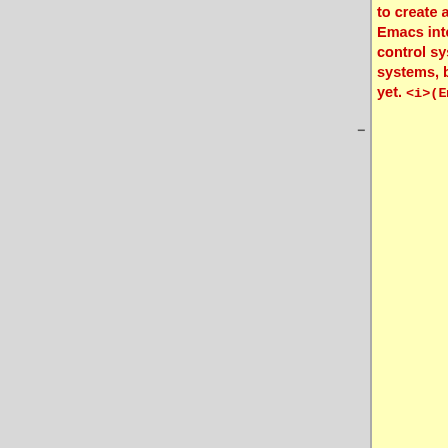to create a generic library for fancy Emacs interfaces to modern version control systems. Has support for several systems, but not Git -- yet. <i>(Emacs, elisp) </i>
and individual account maintenance. The issue tracking handles bugs, tasks, support, news and documentation management. It currently supports CVS, Subversion, and GNU Arch. Savannah uses [https://savannah.nongnu.org/p/savane-cleanup clean-up branch of Savane] which does have [https://savannah.gnu.org/maintenance/Git Git support], but there is no Git support in [https://gna.org/projects/savane Savane] proper yet. ''(Perl or PHP)''